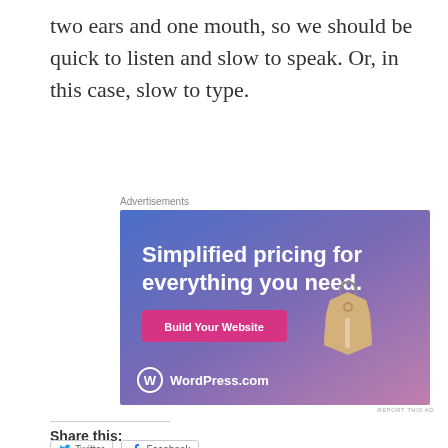two ears and one mouth, so we should be quick to listen and slow to speak. Or, in this case, slow to type.
Advertisements
[Figure (illustration): WordPress.com advertisement banner with blue-to-purple gradient background, white text reading 'Simplified pricing for everything you need.', a pink 'Build Your Website' button, a hanging price tag graphic, and WordPress.com logo at the bottom.]
REPORT THIS AD
Share this:
Twitter
Facebook